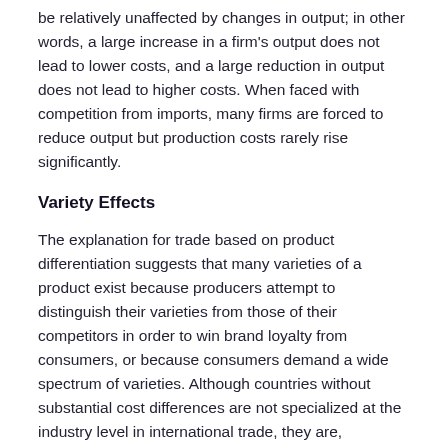be relatively unaffected by changes in output; in other words, a large increase in a firm's output does not lead to lower costs, and a large reduction in output does not lead to higher costs. When faced with competition from imports, many firms are forced to reduce output but production costs rarely rise significantly.
Variety Effects
The explanation for trade based on product differentiation suggests that many varieties of a product exist because producers attempt to distinguish their varieties from those of their competitors in order to win brand loyalty from consumers, or because consumers demand a wide spectrum of varieties. Although countries without substantial cost differences are not specialized at the industry level in international trade, they are, nonetheless, specialized at the product level within the same industry, which results in intra-industry trade.
With the opening of trade, each country increases its exports of